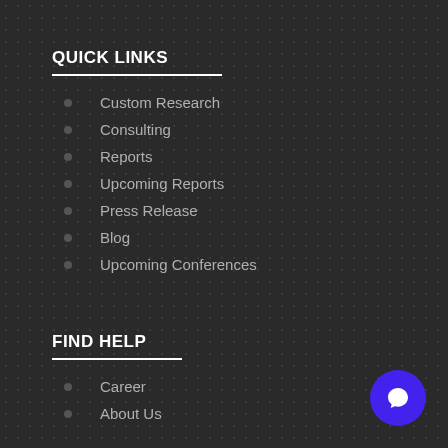QUICK LINKS
Custom Research
Consulting
Reports
Upcoming Reports
Press Release
Blog
Upcoming Conferences
FIND HELP
Career
About Us
[Figure (illustration): Blue circular chat button icon in bottom right corner]